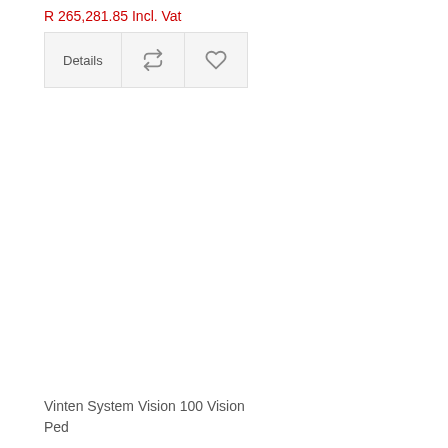R 265,281.85 Incl. Vat
[Figure (screenshot): UI buttons row with Details, repeat/compare icon, and heart/wishlist icon]
Vinten System Vision 100 Vision Ped